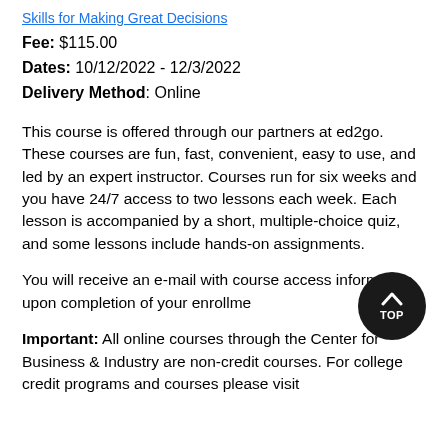Skills for Making Great Decisions
Fee: $115.00
Dates: 10/12/2022 - 12/3/2022
Delivery Method: Online
This course is offered through our partners at ed2go. These courses are fun, fast, convenient, easy to use, and led by an expert instructor. Courses run for six weeks and you have 24/7 access to two lessons each week. Each lesson is accompanied by a short, multiple-choice quiz, and some lessons include hands-on assignments.
You will receive an e-mail with course access information upon completion of your enrollme
Important: All online courses through the Center for Business & Industry are non-credit courses. For college credit programs and courses please visit